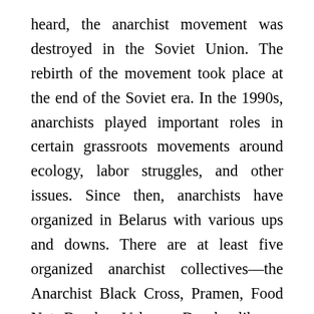heard, the anarchist movement was destroyed in the Soviet Union. The rebirth of the movement took place at the end of the Soviet era. In the 1990s, anarchists played important roles in certain grassroots movements around ecology, labor struggles, and other issues. Since then, anarchists have organized in Belarus with various ups and downs. There are at least five organized anarchist collectives—the Anarchist Black Cross, Pramen, Food Not Bombs, Volnaya Dumka library, and the Really Free Market initiative. All of them handle different tasks within the movement—from anti-repression work to organizing actions on the streets. Apart from these organized groups, there are several